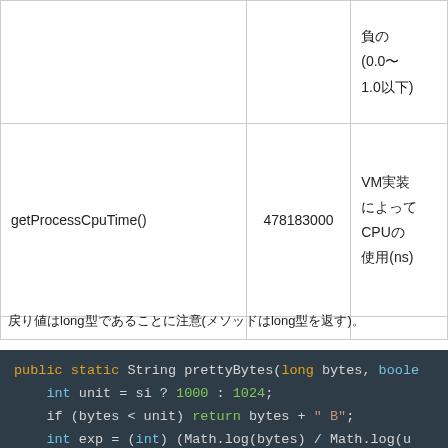|  |  |  |
| --- | --- | --- |
|  |  | 負の
(0.0〜
1.0以下) |
| getProcessCpuTime() | 478183000 | VM実装
によって
CPUの
使用(ns) |
|  |  |  |
戻り値はlong型であることに注意(メソッドはlong型を返す)。
[Figure (screenshot): Java code snippet showing public static String prettyBytes(long bytes, boolean si) method with int unit = si ? 1000 : 1024; if (bytes < unit) return bytes + " B"; int exp = (int) (Math.log(bytes) / Math.log(u]